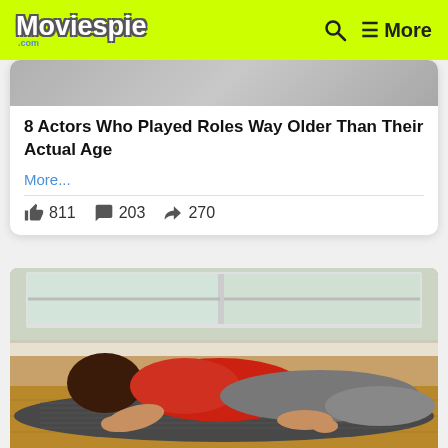Moviespie .com | Search | More
8 Actors Who Played Roles Way Older Than Their Actual Age
More...
811  203  270
[Figure (photo): A person wearing a red shirt and gray leggings doing a yoga pose (child's pose) on a dark gray yoga mat on a wooden floor, with windows visible in the background.]